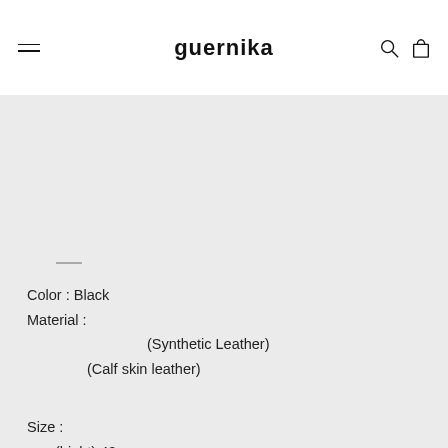guernika
Color : Black
Material :
(Synthetic Leather)
(Calf skin leather)
Size :
(hight) 42cm
(width) 38cm
(depth) 23cm